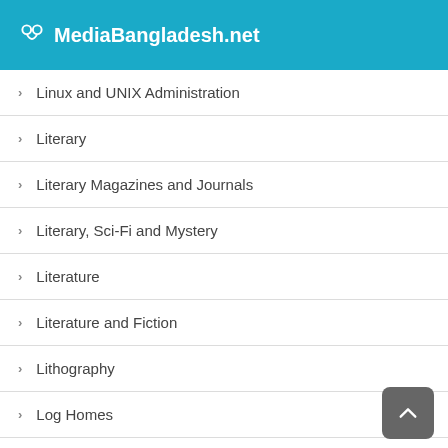MediaBangladesh.net
Linux and UNIX Administration
Literary
Literary Magazines and Journals
Literary, Sci-Fi and Mystery
Literature
Literature and Fiction
Lithography
Log Homes
Logic and Brain Teasers
Love and Loss